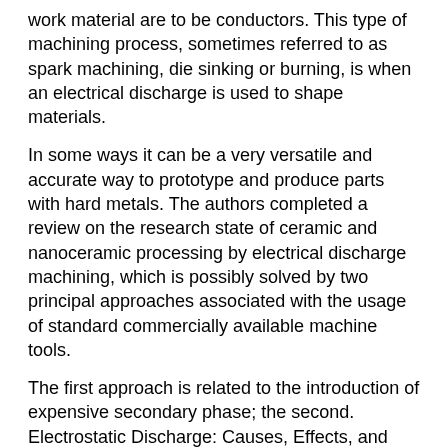work material are to be conductors. This type of machining process, sometimes referred to as spark machining, die sinking or burning, is when an electrical discharge is used to shape materials.
In some ways it can be a very versatile and accurate way to prototype and produce parts with hard metals. The authors completed a review on the research state of ceramic and nanoceramic processing by electrical discharge machining, which is possibly solved by two principal approaches associated with the usage of standard commercially available machine tools.
The first approach is related to the introduction of expensive secondary phase; the second. Electrostatic Discharge: Causes, Effects, and Solutions.
In most cases, ESD currents will travel to ground via the metal chassis frame of a device. However, it's well known that current will travel on every available path. In some cases, one path may be between the PN junctions on integrated circuits to reach ground.